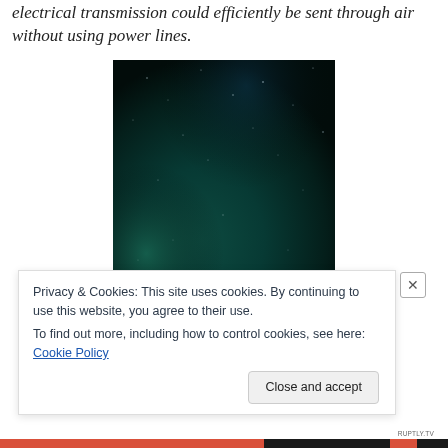electrical transmission could efficiently be sent through air without using power lines.
[Figure (photo): Dark night sky photograph with deep teal/green gradient, showing faint stars scattered across a near-black sky background.]
Privacy & Cookies: This site uses cookies. By continuing to use this website, you agree to their use.
To find out more, including how to control cookies, see here: Cookie Policy